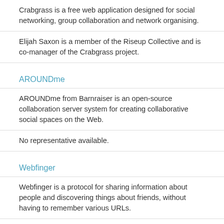Crabgrass is a free web application designed for social networking, group collaboration and network organising.
Elijah Saxon is a member of the Riseup Collective and is co-manager of the Crabgrass project.
AROUNDme
AROUNDme from Barnraiser is an open-source collaboration server system for creating collaborative social spaces on the Web.
No representative available.
Webfinger
Webfinger is a protocol for sharing information about people and discovering things about friends, without having to remember various URLs.